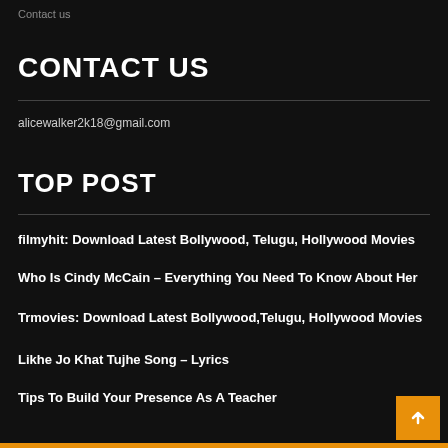Contact us
CONTACT US
alicewalker2k18@gmail.com
TOP POST
filmyhit: Download Latest Bollywood, Telugu, Hollywood Movies
Who Is Cindy McCain – Everything You Need To Know About Her
Trmovies: Download Latest Bollywood,Telugu, Hollywood Movies
Likhe Jo Khat Tujhe Song – Lyrics
Tips To Build Your Presence As A Teacher